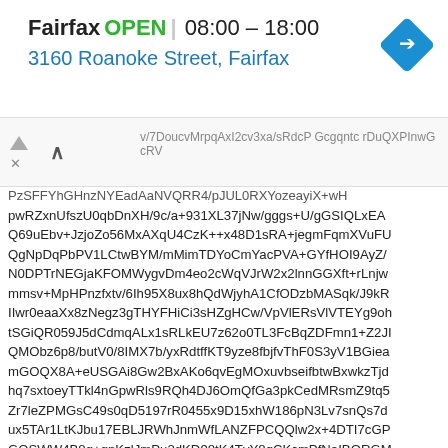Fairfax  OPEN  08:00 – 18:00
3160 Roanoke Street, Fairfax
v/7DoucvMrpqAxI2cv3xa/sRdcP Gcgqntc rDuQXPInwGcRV PzSFFYhGHnzNYEadAaNVQRR4/pJUL0RXYozeayiX+wH pwRZxnUfszU0qbDnXH/9c/a+931XL37jNw/gggs+U/gGSIQLxEA Q69uEbv+JzjoZo56MxAXqU4CzK++x48D1sRA+jegmFqmXVuFU QgNpDqPbPV1LCtwBYM/mMimTDYoCmYacPVA+GYfHOI9AyZ/ N0DPTrNEGjaKFOMWygvDm4eo2cWqVJrW2x2lnnGGXft+rLnjw mmsv+MpHPnzfxtv/6Ih95X8ux8hQdWjyhA1CfODzbMASqk/J9kR IIwr0eaaXx8zNegz3gTHYFHiCi3sHZgHCw/VpVlERsVlVTEYg9oh tSGiQR059J5dCdmqALx1sRLkEU7z62o0TL3FcBqZDFmn1+Z2JI QMObz6p8/butV0/8IMX7b/yxRdtffKT9yze8fbjfvThF0S3yV1BGiea mGOQX8A+eUSGAi8Gw2BxAKo6qvEgMOxuvbseifbtwBxwkzTjd hq7sxtoeyTTkl4nGpwRls9RQh4DJ6OmQfGa3pkCedMRsmZ9tq5 Zr7leZPMGsC49s0qD5197rR0455x9D15xhW186pN3Lv7snQs7d ux5TAr1LtKJbu17EBLJRWhJnmWfLANZFPCQQlw2x+4DTI7cGP GOSWW4B8g+gnKzlJmPu2dKD98tK4TvY8qCKcmPfNaIBQRGM C0xXhAyh5rIU2cLMVWcxCxcAx4IDN11j0kanL9vn+065xz74o4dl x2/5lrb/NeP3+7v+osddvLEXhPGMt8+PghleWAGNVEOVpMDtq6 FJE0xesklRYcBMBgUMow5KVaCVD5YhM7Cas8EBJ3hrLcjPDr7